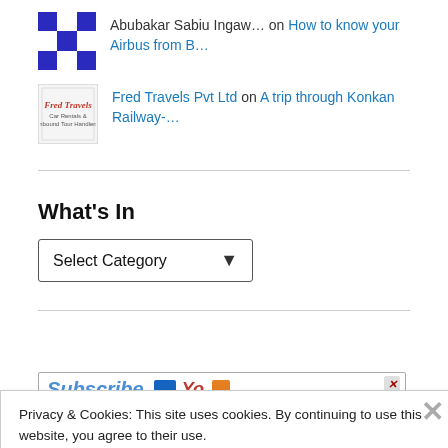Abubakar Sabiu Ingaw… on How to know your Airbus from B…
Fred Travels Pvt Ltd on A trip through Konkan Railway-…
What's In
Select Category (dropdown)
Subscribe [icons]
Privacy & Cookies: This site uses cookies. By continuing to use this website, you agree to their use.
To find out more, including how to control cookies, see here: Cookie Policy
Close and accept